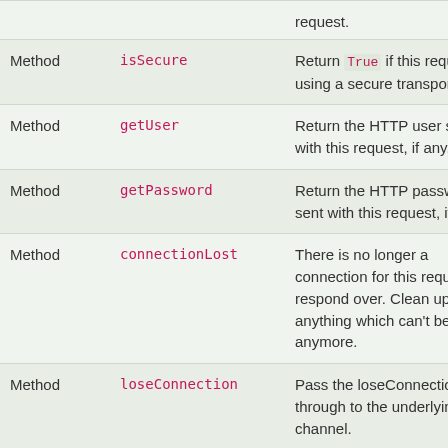| Type | Name | Description |
| --- | --- | --- |
|  |  | request. |
| Method | isSecure | Return True if this request is using a secure transport. |
| Method | getUser | Return the HTTP user sent with this request, if any. |
| Method | getPassword | Return the HTTP password sent with this request, if any. |
| Method | connectionLost | There is no longer a connection for this request to respond over. Clean up anything which can't be useful anymore. |
| Method | loseConnection | Pass the loseConnection through to the underlying channel. |
| Method | __eq__ | Determines if two requests are the same object. |
| Method / Show Private API | __ne__ | Determines if two requests are not the same object. |